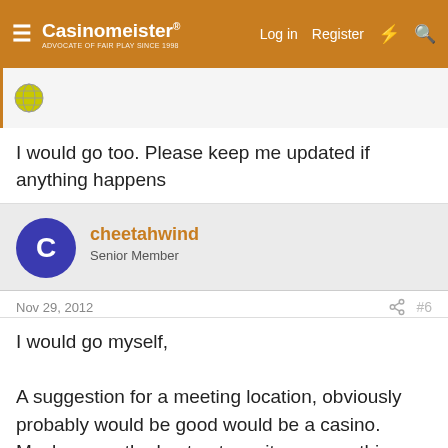Casinomeister — Log in | Register
[Figure (screenshot): Globe/forum icon for previous poster]
I would go too. Please keep me updated if anything happens
[Figure (illustration): Avatar circle with letter C for user cheetahwind]
cheetahwind
Senior Member
Nov 29, 2012   #6
I would go myself,

A suggestion for a meeting location, obviously probably would be good would be a casino.
Maybe even the host get a suite or something so we could
This site uses cookies to help personalise content, tailor your experience and to keep you logged in if you register.
By continuing to use this site, you are consenting to our use of cookies.
✓ Accept   Learn more…